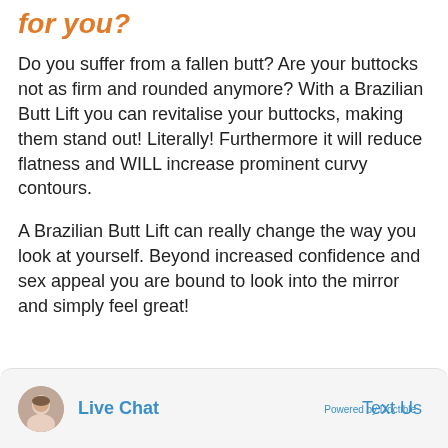for you?
Do you suffer from a fallen butt? Are your buttocks not as firm and rounded anymore? With a Brazilian Butt Lift you can revitalise your buttocks, making them stand out! Literally! Furthermore it will reduce flatness and WILL increase prominent curvy contours.
A Brazilian Butt Lift can really change the way you look at yourself. Beyond increased confidence and sex appeal you are bound to look into the mirror and simply feel great!
Live Chat   Text Us   Powered by Doctible